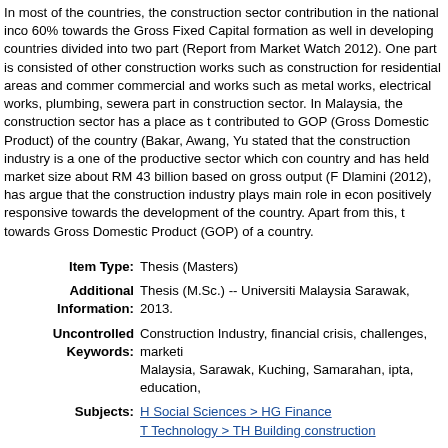In most of the countries, the construction sector contribution in the national inco 60% towards the Gross Fixed Capital formation as well in developing countries divided into two part (Report from Market Watch 2012). One part is consisted of other construction works such as construction for residential areas and commer commercial and works such as metal works, electrical works, plumbing, sewera part in construction sector. In Malaysia, the construction sector has a place as t contributed to GOP (Gross Domestic Product) of the country (Bakar, Awang, Yu stated that the construction industry is a one of the productive sector which con country and has held market size about RM 43 billion based on gross output (F Dlamini (2012), has argue that the construction industry plays main role in econ positively responsive towards the development of the country. Apart from this, t towards Gross Domestic Product (GOP) of a country.
| Item Type: | Thesis (Masters) |
| Additional Information: | Thesis (M.Sc.) -- Universiti Malaysia Sarawak, 2013. |
| Uncontrolled Keywords: | Construction Industry, financial crisis, challenges, marketi Malaysia, Sarawak, Kuching, Samarahan, ipta, education, |
| Subjects: | H Social Sciences > HG Finance
T Technology > TH Building construction |
| Divisions: | Academic Faculties, Institutes and Centres > Faculty of Ec |
| Depositing User: | Karen Kornalius |
| Date Deposited: | 06 Oct 2015 01:45 |
| Last Modified: | 13 Mar 2020 08:52 |
| URI: | http://ir.unimas.my/id/eprint/9076 |